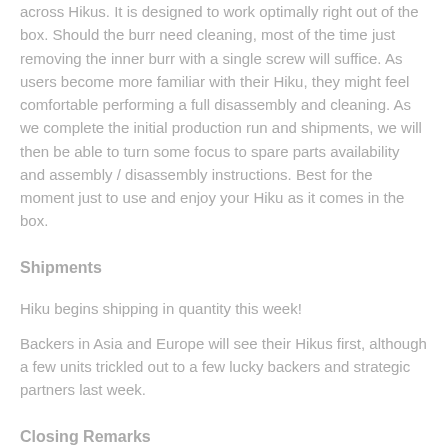across Hikus. It is designed to work optimally right out of the box. Should the burr need cleaning, most of the time just removing the inner burr with a single screw will suffice. As users become more familiar with their Hiku, they might feel comfortable performing a full disassembly and cleaning. As we complete the initial production run and shipments, we will then be able to turn some focus to spare parts availability and assembly / disassembly instructions. Best for the moment just to use and enjoy your Hiku as it comes in the box.
Shipments
Hiku begins shipping in quantity this week!
Backers in Asia and Europe will see their Hikus first, although a few units trickled out to a few lucky backers and strategic partners last week.
Closing Remarks
Hiku has come so far in the last twelve months. At this time last